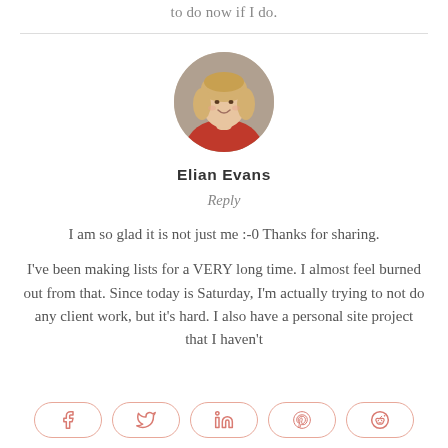to do now if I do.
[Figure (photo): Circular avatar photo of a blonde woman in a red top, smiling.]
Elian Evans
Reply
I am so glad it is not just me :-0 Thanks for sharing.
I've been making lists for a VERY long time. I almost feel burned out from that. Since today is Saturday, I'm actually trying to not do any client work, but it's hard. I also have a personal site project that I haven't
[Figure (infographic): Social share buttons: Facebook, Twitter, LinkedIn, Pinterest, Reddit]